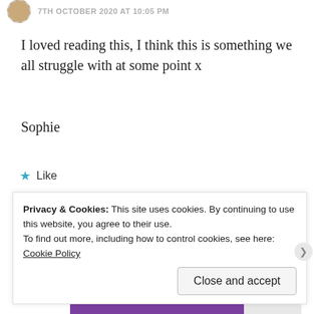7TH OCTOBER 2020 AT 10:05 PM
I loved reading this, I think this is something we all struggle with at some point x
Sophie
★ Like
Reply
Advertisements
[Figure (logo): WooCommerce advertisement banner with purple background and white logo]
Privacy & Cookies: This site uses cookies. By continuing to use this website, you agree to their use.
To find out more, including how to control cookies, see here: Cookie Policy
Close and accept